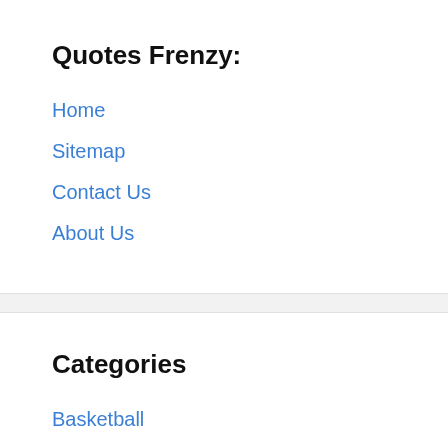Quotes Frenzy:
Home
Sitemap
Contact Us
About Us
Categories
Basketball